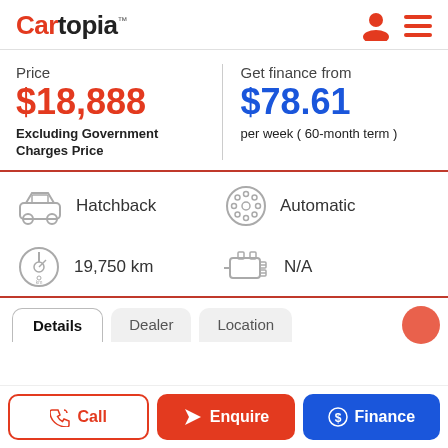Cartopia
Price
$18,888
Excluding Government Charges Price
Get finance from
$78.61
per week ( 60-month term )
Hatchback
Automatic
19,750 km
N/A
Details	Dealer	Location
Call	Enquire	Finance